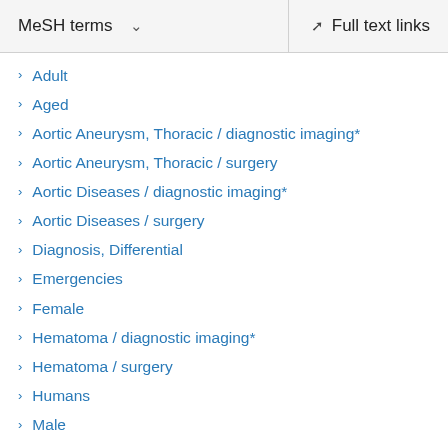MeSH terms  ∨   Full text links
Adult
Aged
Aortic Aneurysm, Thoracic / diagnostic imaging*
Aortic Aneurysm, Thoracic / surgery
Aortic Diseases / diagnostic imaging*
Aortic Diseases / surgery
Diagnosis, Differential
Emergencies
Female
Hematoma / diagnostic imaging*
Hematoma / surgery
Humans
Male
Middle Aged
Retrospective Studies
Sensitivity and Specificity